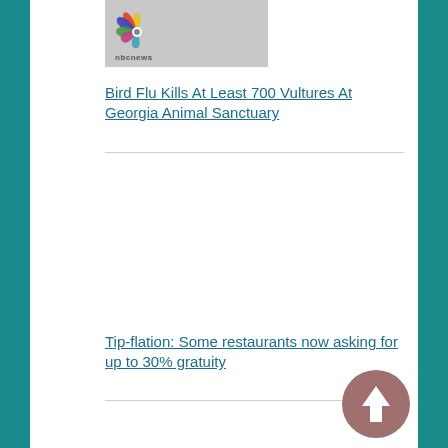[Figure (screenshot): NBC News thumbnail image with NBC peacock logo and 'nbcnews' text watermark, gray/light background]
Bird Flu Kills At Least 700 Vultures At Georgia Animal Sanctuary
[Figure (screenshot): Blank/empty image placeholder for second news story]
Tip-flation: Some restaurants now asking for up to 30% gratuity
[Figure (illustration): Back to top button - circular mauve/dusty rose colored button with upward arrow icon]